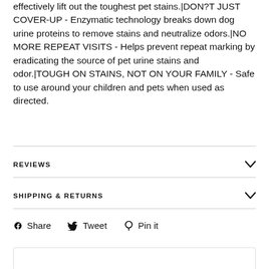effectively lift out the toughest pet stains.|DON?T JUST COVER-UP - Enzymatic technology breaks down dog urine proteins to remove stains and neutralize odors.|NO MORE REPEAT VISITS - Helps prevent repeat marking by eradicating the source of pet urine stains and odor.|TOUGH ON STAINS, NOT ON YOUR FAMILY - Safe to use around your children and pets when used as directed.
REVIEWS
SHIPPING & RETURNS
Share  Tweet  Pin it